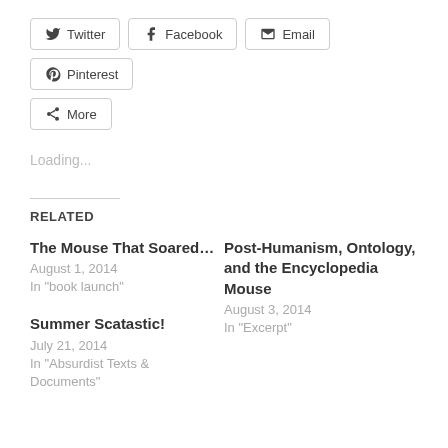Twitter
Facebook
Email
Pinterest
More
Loading...
RELATED
The Mouse That Soared…
August 1, 2014
In "book launch"
Post-Humanism, Ontology, and the Encyclopedia Mouse
August 3, 2014
In "Excerpt"
Summer Scatastic!
July 21, 2014
In "Absurdist Texts & Documents"